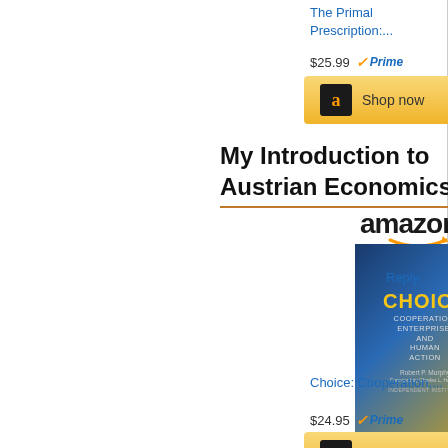The Primal Prescription:...
$25.99 ✓Prime
[Figure (screenshot): Shop now button with Amazon logo]
My Introduction to Austrian Economics
[Figure (logo): Amazon logo with orange arrow]
[Figure (photo): Book cover: Choice: Cooperation, Enterprise, and Human Action by Robert P. Murphy]
Choice: Cooperation,...
$24.95 ✓Prime
[Figure (screenshot): Shop now button with Amazon logo]
Reply